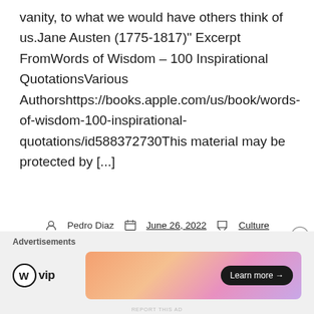vanity, to what we would have others think of us.Jane Austen (1775-1817)" Excerpt FromWords of Wisdom – 100 Inspirational QuotationsVarious Authorshttps://books.apple.com/us/book/words-of-wisdom-100-inspirational-quotations/id588372730This material may be protected by [...]
Pedro Diaz  June 26, 2022  Culture
Cultural Broker, Quotes
[Figure (other): Advertisement section with WordPress VIP logo and a colorful gradient banner ad with 'Learn more →' button]